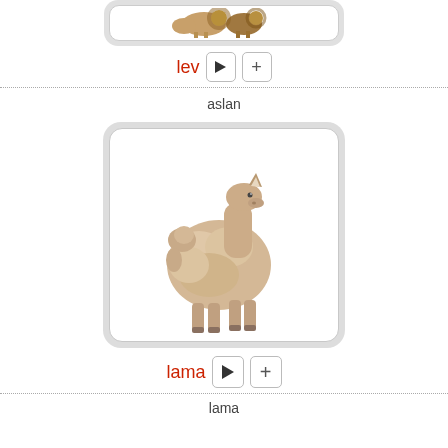[Figure (photo): Partial view of a card showing lion/animal images at the top of the page]
lev ▶ +
aslan
[Figure (photo): A llama standing on white background, side profile view, fluffy white/beige coat]
lama ▶ +
lama